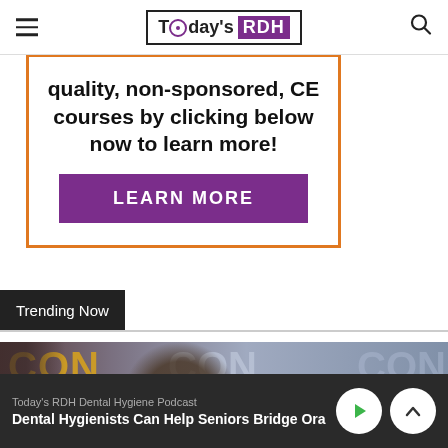Today's RDH
quality, non-sponsored, CE courses by clicking below now to learn more!
LEARN MORE
Trending Now
[Figure (photo): Photo of people at a comic-con style event, with CON text visible in background]
Today's RDH Dental Hygiene Podcast
Dental Hygienists Can Help Seniors Bridge Ora